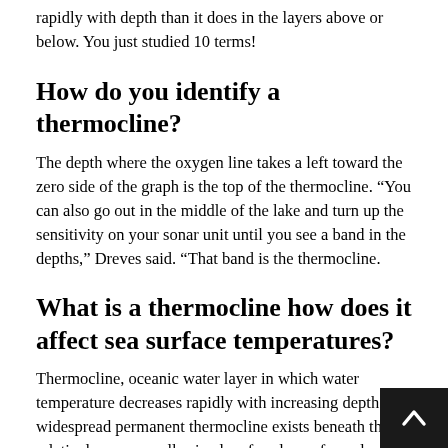rapidly with depth than it does in the layers above or below. You just studied 10 terms!
How do you identify a thermocline?
The depth where the oxygen line takes a left toward the zero side of the graph is the top of the thermocline. “You can also go out in the middle of the lake and turn up the sensitivity on your sonar unit until you see a band in the depths,” Dreves said. “That band is the thermocline.
What is a thermocline how does it affect sea surface temperatures?
Thermocline, oceanic water layer in which water temperature decreases rapidly with increasing depth. A widespread permanent thermocline exists beneath the relatively warm, well-mixed surface layer, from dep…